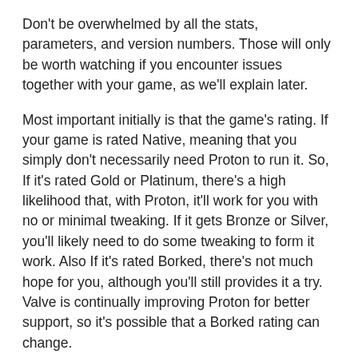Don't be overwhelmed by all the stats, parameters, and version numbers. Those will only be worth watching if you encounter issues together with your game, as we'll explain later.
Most important initially is that the game's rating. If your game is rated Native, meaning that you simply don't necessarily need Proton to run it. So, If it's rated Gold or Platinum, there's a high likelihood that, with Proton, it'll work for you with no or minimal tweaking. If it gets Bronze or Silver, you'll likely need to do some tweaking to form it work. Also If it's rated Borked, there's not much hope for you, although you'll still provides it a try. Valve is continually improving Proton for better support, so it's possible that a Borked rating can change.
Another way to seek out game recommendations is thru curated lists on Steam, just like the Proton Compatible curator. You'll find many games, each with a quick